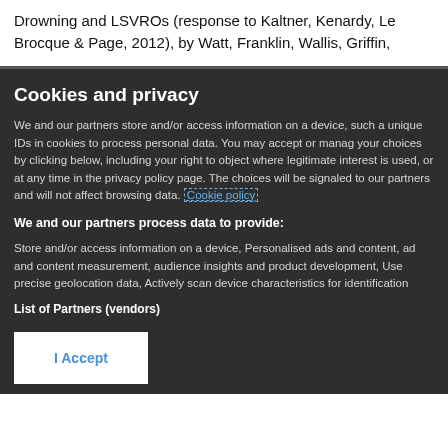Drowning and LSVROs (response to Kaltner, Kenardy, Le Brocque & Page, 2012), by Watt, Franklin, Wallis, Griffin,
Cookies and privacy
We and our partners store and/or access information on a device, such as unique IDs in cookies to process personal data. You may accept or manage your choices by clicking below, including your right to object where legitimate interest is used, or at any time in the privacy policy page. These choices will be signaled to our partners and will not affect browsing data. Cookie policy
We and our partners process data to provide:
Store and/or access information on a device, Personalised ads and content, ad and content measurement, audience insights and product development, Use precise geolocation data, Actively scan device characteristics for identification
List of Partners (vendors)
I Accept